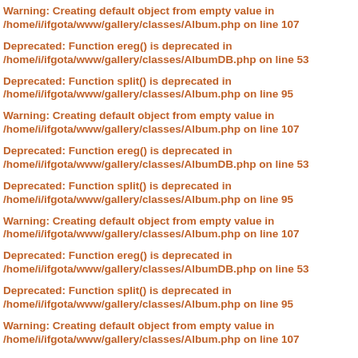Warning: Creating default object from empty value in /home/i/ifgota/www/gallery/classes/Album.php on line 107
Deprecated: Function ereg() is deprecated in /home/i/ifgota/www/gallery/classes/AlbumDB.php on line 53
Deprecated: Function split() is deprecated in /home/i/ifgota/www/gallery/classes/Album.php on line 95
Warning: Creating default object from empty value in /home/i/ifgota/www/gallery/classes/Album.php on line 107
Deprecated: Function ereg() is deprecated in /home/i/ifgota/www/gallery/classes/AlbumDB.php on line 53
Deprecated: Function split() is deprecated in /home/i/ifgota/www/gallery/classes/Album.php on line 95
Warning: Creating default object from empty value in /home/i/ifgota/www/gallery/classes/Album.php on line 107
Deprecated: Function ereg() is deprecated in /home/i/ifgota/www/gallery/classes/AlbumDB.php on line 53
Deprecated: Function split() is deprecated in /home/i/ifgota/www/gallery/classes/Album.php on line 95
Warning: Creating default object from empty value in /home/i/ifgota/www/gallery/classes/Album.php on line 107